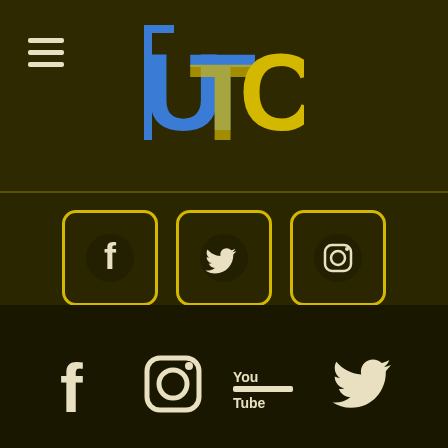[Figure (logo): UTC logo in blue and yellow stylized letters]
[Figure (infographic): Three social media icons (Facebook, Twitter, Instagram) in yellow-bordered rounded square boxes on dark brown background]
MANAGED BY: KATE LENNON
[Figure (logo): UTC watermark logo in the background, semi-transparent]
[Figure (infographic): Footer social media icons: Facebook, Instagram, YouTube, Twitter in white on very dark background]